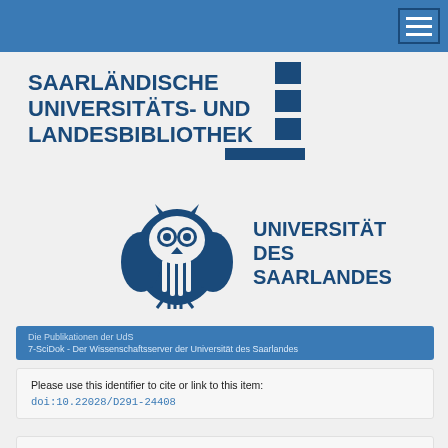[Figure (logo): Navigation bar with hamburger menu icon, blue background]
[Figure (logo): Saarländische Universitäts- und Landesbibliothek logo with text and graphic bars]
[Figure (logo): Universität des Saarlandes logo with owl icon and text]
Die Publikationen der UdS
7-SciDok - Der Wissenschaftsserver der Universität des Saarlandes
Please use this identifier to cite or link to this item:
doi:10.22028/D291-24408